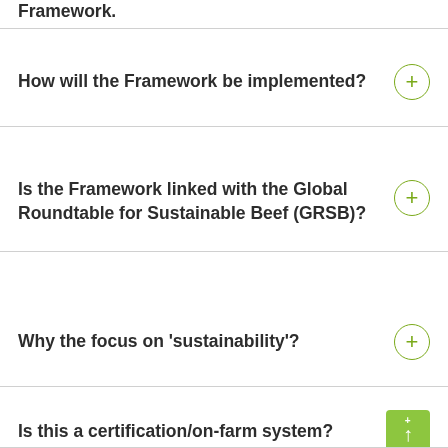Framework.
How will the Framework be implemented?
Is the Framework linked with the Global Roundtable for Sustainable Beef (GRSB)?
Why the focus on 'sustainability'?
Is this a certification/on-farm system?